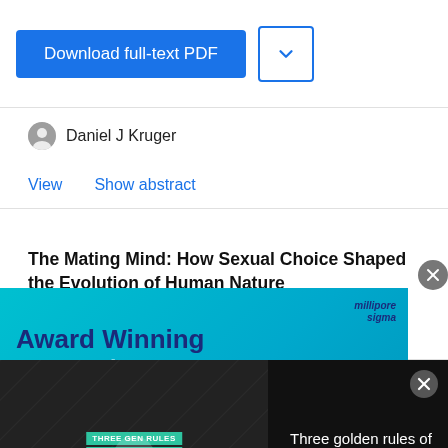[Figure (screenshot): Download full-text PDF button (blue) and chevron dropdown button]
Daniel J Kruger
View   Show abstract
The Mating Mind: How Sexual Choice Shaped the Evolution of Human Nature
Book   Full-text available
Jan 2001
[Figure (screenshot): Video overlay: Three golden rules of successful STEM marketing]
[Figure (screenshot): Advertisement: Award Winning – Innovative SAFC raw material solutions for Pharm/Biopharm. Get the facts. SAFC Millipore Sigma logo.]